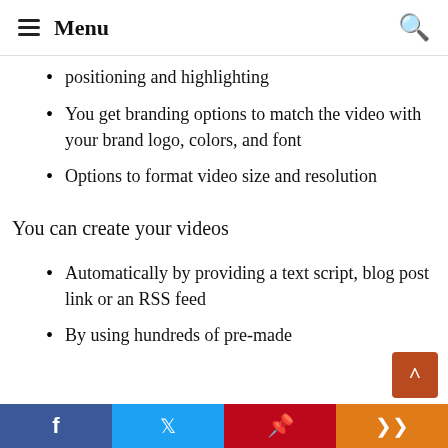Menu
positioning and highlighting
You get branding options to match the video with your brand logo, colors, and font
Options to format video size and resolution
You can create your videos
Automatically by providing a text script, blog post link or an RSS feed
By using hundreds of pre-made
f  Twitter  Pinterest  Share